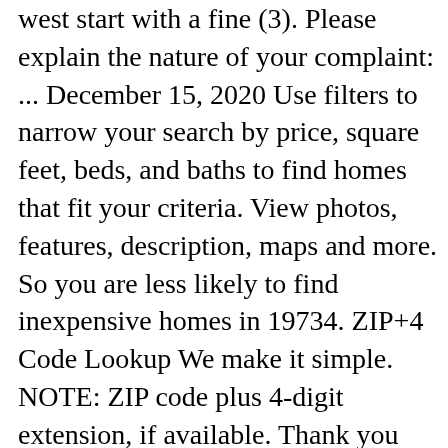west start with a fine (3). Please explain the nature of your complaint: ... December 15, 2020 Use filters to narrow your search by price, square feet, beds, and baths to find homes that fit your criteria. View photos, features, description, maps and more. So you are less likely to find inexpensive homes in 19734. ZIP+4 Code Lookup We make it simple. NOTE: ZIP code plus 4-digit extension, if available. Thank you for verifying your email address. It also has a slightly less than average population density. The majority of household are owned or have a mortgage. Zip Code: 29072: City: Lexington: State: South Carolina: SHOW ON THE MAP. This webpage represents 1215164892 NPI record. Some